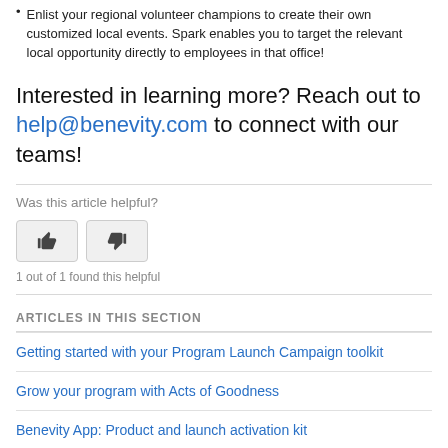Enlist your regional volunteer champions to create their own customized local events. Spark enables you to target the relevant local opportunity directly to employees in that office!
Interested in learning more? Reach out to help@benevity.com to connect with our teams!
Was this article helpful?
1 out of 1 found this helpful
ARTICLES IN THIS SECTION
Getting started with your Program Launch Campaign toolkit
Grow your program with Acts of Goodness
Benevity App: Product and launch activation kit